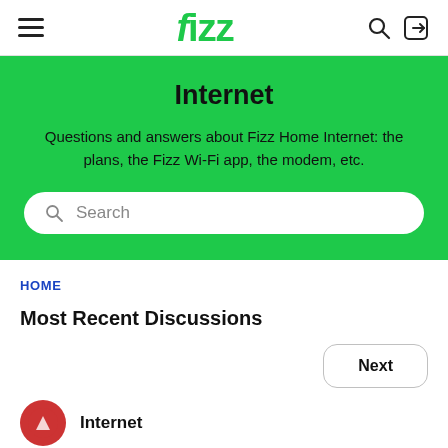fizz
Internet
Questions and answers about Fizz Home Internet: the plans, the Fizz Wi-Fi app, the modem, etc.
Search
HOME
Most Recent Discussions
Next
Internet